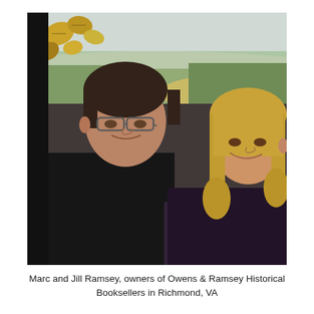[Figure (photo): A man and a woman standing outdoors with a green landscape and trees in the background. The man on the left has dark hair, glasses, and wears a black shirt. The woman on the right has long blonde hair and wears a dark top. There are yellow-green leaves visible in the upper left corner.]
Marc and Jill Ramsey, owners of Owens & Ramsey Historical Booksellers in Richmond, VA